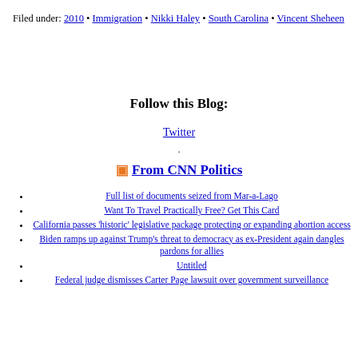Filed under: 2010 • Immigration • Nikki Haley • South Carolina • Vincent Sheheen
Follow this Blog:
Twitter
From CNN Politics
Full list of documents seized from Mar-a-Lago
Want To Travel Practically Free? Get This Card
California passes 'historic' legislative package protecting or expanding abortion access
Biden ramps up against Trump's threat to democracy as ex-President again dangles pardons for allies
Untitled
Federal judge dismisses Carter Page lawsuit over government surveillance